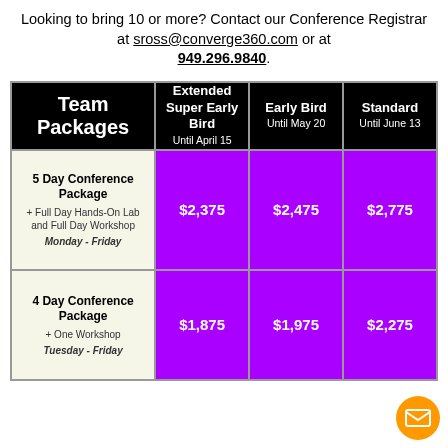Looking to bring 10 or more? Contact our Conference Registrar at sross@converge360.com or at 949.296.9840.
| Team Packages | Extended Super Early Bird Until April 15 | Early Bird Until May 20 | Standard Until June 13 |
| --- | --- | --- | --- |
| 5 Day Conference Package + Full Day Hands-On Lab and Full Day Workshop Monday - Friday | $2,375 | $2,475 | $2,775 |
| 4 Day Conference Package + One Workshop Tuesday - Friday | $1,875 | $1,975 | $2,275 |